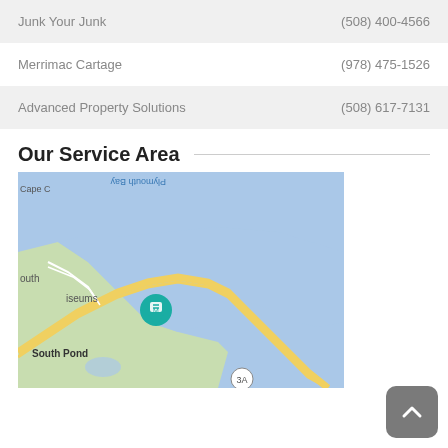| Company | Phone |
| --- | --- |
| Junk Your Junk | (508) 400-4566 |
| Merrimac Cartage | (978) 475-1526 |
| Advanced Property Solutions | (508) 617-7131 |
Our Service Area
[Figure (map): Google Maps view showing Plymouth Bay area coastline with a teal location pin marker. Labels include Cape C[od], Plymouth Bay, South, Museums, South Pond, and route 3A.]